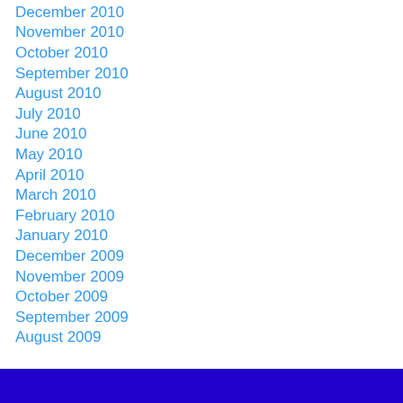December 2010
November 2010
October 2010
September 2010
August 2010
July 2010
June 2010
May 2010
April 2010
March 2010
February 2010
January 2010
December 2009
November 2009
October 2009
September 2009
August 2009